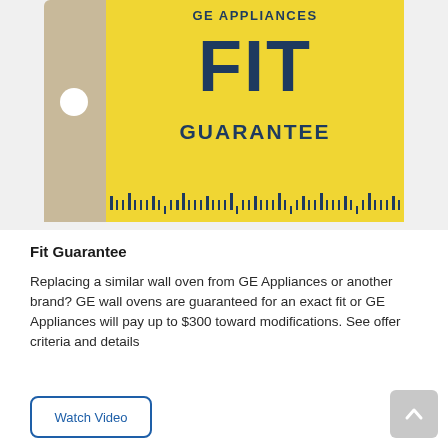[Figure (logo): GE Appliances FIT GUARANTEE logo styled as a price tag with yellow body and tan/beige tab on left with ruler marks at bottom]
Fit Guarantee
Replacing a similar wall oven from GE Appliances or another brand? GE wall ovens are guaranteed for an exact fit or GE Appliances will pay up to $300 toward modifications. See offer criteria and details